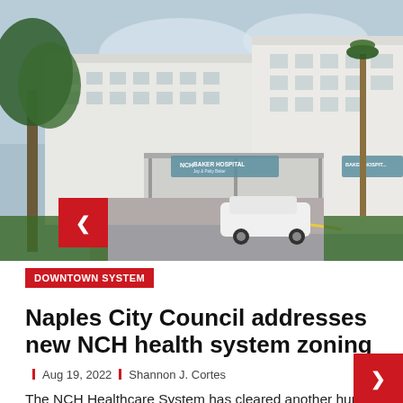[Figure (photo): Exterior photo of NCH Baker Hospital in Naples, FL, showing the entrance with palm trees, a white car, and NCH Baker Hospital signage on the building facade.]
DOWNTOWN SYSTEM
Naples City Council addresses new NCH health system zoning
Aug 19, 2022  Shannon J. Cortes
The NCH Healthcare System has cleared another hurdle in its plans to build a $150 million heart center, but the height of the building remains...